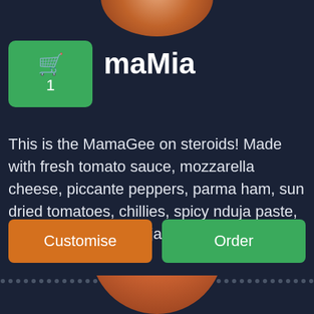[Figure (photo): Top portion of a pizza visible at the top of the screen]
[Figure (screenshot): Green shopping cart badge with cart icon and number 1]
maMia
This is the MamaGee on steroids! Made with fresh tomato sauce, mozzarella cheese, piccante peppers, parma ham, sun dried tomatoes, chillies, spicy nduja paste, caramalised onions, jalapenos, anchovies and basil.
[Figure (screenshot): Customise button (orange) and Order button (green)]
[Figure (photo): Bottom portion of a pizza visible at the bottom of the screen]